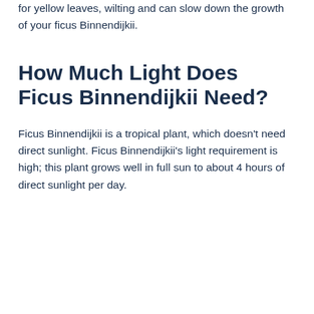for yellow leaves, wilting and can slow down the growth of your ficus Binnendijkii.
How Much Light Does Ficus Binnendijkii Need?
Ficus Binnendijkii is a tropical plant, which doesn’t need direct sunlight. Ficus Binnendijkii’s light requirement is high; this plant grows well in full sun to about 4 hours of direct sunlight per day.